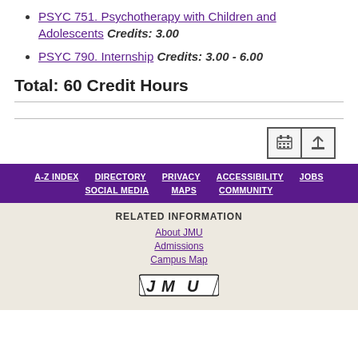PSYC 751. Psychotherapy with Children and Adolescents Credits: 3.00
PSYC 790. Internship Credits: 3.00 - 6.00
Total: 60 Credit Hours
A-Z INDEX | DIRECTORY | PRIVACY | ACCESSIBILITY | JOBS | SOCIAL MEDIA | MAPS | COMMUNITY
RELATED INFORMATION
About JMU
Admissions
Campus Map
[Figure (logo): JMU (James Madison University) logo in black and white]